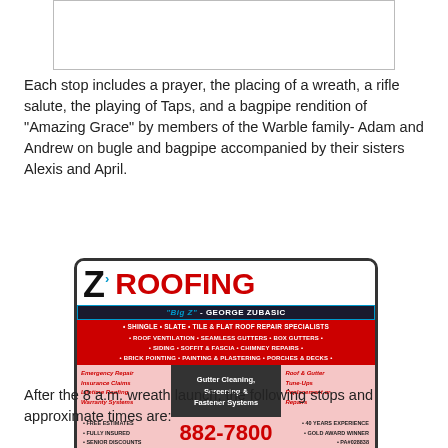[Figure (other): Blank/white image placeholder at top of page]
Each stop includes a prayer, the placing of a wreath, a rifle salute, the playing of Taps, and a bagpipe rendition of "Amazing Grace" by members of the Warble family- Adam and Andrew on bugle and bagpipe accompanied by their sisters Alexis and April.
[Figure (illustration): Z Roofing advertisement - Big Z, George Zubasic. Services: Shingle, Slate, Tile & Flat Roof Repair Specialists, Roof Ventilation, Seamless Gutters, Box Gutters, Siding, Soffit & Fascia, Chimney Repairs, Brick Pointing, Painting & Plastering, Porches & Decks. Phone: 882-7800. Free Estimates, Fully Insured, Senior Discounts. 40 Years Experience, Gold Award Winner.]
After the 8 a.m. wreath launch, the following stops and approximate times are: